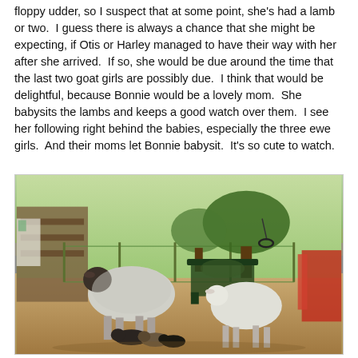floppy udder, so I suspect that at some point, she's had a lamb or two.  I guess there is always a chance that she might be expecting, if Otis or Harley managed to have their way with her after she arrived.  If so, she would be due around the time that the last two goat girls are possibly due.  I think that would be delightful, because Bonnie would be a lovely mom.  She babysits the lambs and keeps a good watch over them.  I see her following right behind the babies, especially the three ewe girls.  And their moms let Bonnie babysit.  It's so cute to watch.
[Figure (photo): A farm scene showing two adult sheep and several young lambs in a dirt pen. Behind them is a decorative metal bench, green fencing, large trees, and red/orange farm equipment on the right side.]